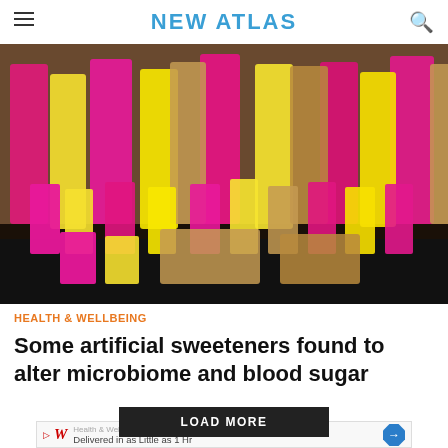NEW ATLAS
[Figure (photo): Trays filled with colorful artificial sweetener packets in pink, yellow, and brown/beige colors, arranged in rows]
HEALTH & WELLBEING
Some artificial sweeteners found to alter microbiome and blood sugar
LOAD MORE
[Figure (advertisement): Walgreens ad: Health & Wellness Today, Delivered in as Little as 1 Hr]